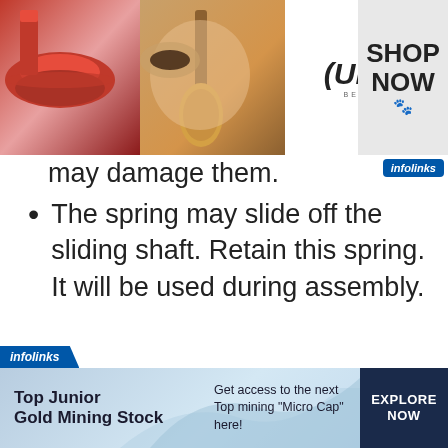[Figure (photo): Top banner advertisement for ULTA Beauty showing makeup photos (lips, brush, eye), ULTA logo, another eye photo, and SHOP NOW text with infolinks branding]
may damage them.
The spring may slide off the sliding shaft. Retain this spring. It will be used during assembly.
[Figure (photo): Bottom banner advertisement for Top Junior Gold Mining Stock with infolinks branding, text: Get access to the next Top mining "Micro Cap" here!, and EXPLORE NOW button]